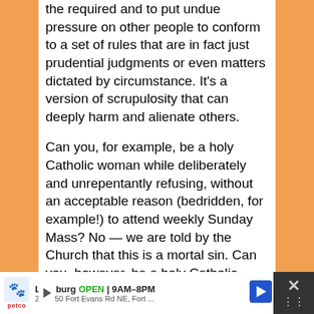the required and to put undue pressure on other people to conform to a set of rules that are in fact just prudential judgments or even matters dictated by circumstance. It's a version of scrupulosity that can deeply harm and alienate others.
Can you, for example, be a holy Catholic woman while deliberately and unrepentantly refusing, without an acceptable reason (bedridden, for example!) to attend weekly Sunday Mass? No — we are told by the Church that this is a mortal sin. Can you, however, be a holy Catholic woman while not wearing a mantilla, or receiving on the hand, or working outside the home, or (licitly) not having children, or not attending Mass the weekend after you give birth? Yes! These things are *not sinful.* We should advise each other as best we can, but we should not make demands
[Figure (screenshot): Advertisement bar at bottom: Petco logo with mascot icon, text 'Leesburg OPEN | 9AM–8PM' and '200-250 Fort Evans Rd NE, Fort ...' with a blue navigation arrow icon, close button with X on right side.]